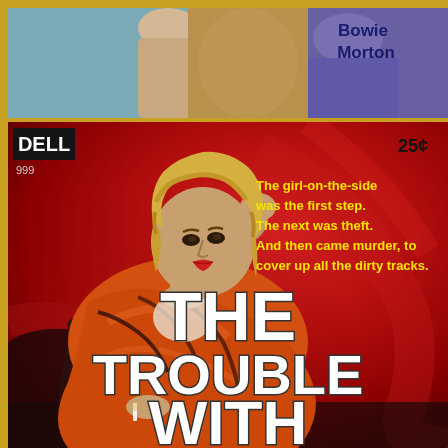[Figure (illustration): Top portion of a pulp paperback book cover showing partial figures — a woman's torso in light tones on left, and a man in purple/dark clothing on right. Author name 'Bowie Morton' visible in upper right in dark blue bold text.]
[Figure (illustration): Main portion of Dell pulp paperback book cover #999, priced 25 cents. Vivid red/crimson painted background. A blonde woman in an orange dress reclines provocatively. DELL logo in black box upper left, price 25¢ upper right. Yellow tagline text reads: 'The girl-on-the-side was the first step. The next was theft. And then came murder, to cover up all the dirty tracks.' Large white bold title text reads 'THE TROUBLE WITH' at the bottom.]